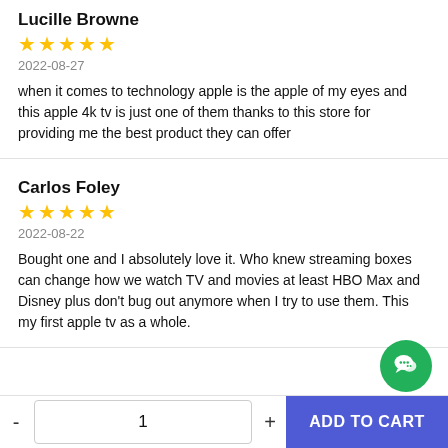Lucille Browne
★★★★★
2022-08-27
when it comes to technology apple is the apple of my eyes and this apple 4k tv is just one of them thanks to this store for providing me the best product they can offer
Carlos Foley
★★★★★
2022-08-22
Bought one and I absolutely love it. Who knew streaming boxes can change how we watch TV and movies at least HBO Max and Disney plus don't bug out anymore when I try to use them. This my first apple tv as a whole.
[Figure (other): Green circular chat/support button with speech bubble icon]
- 1 + ADD TO CART